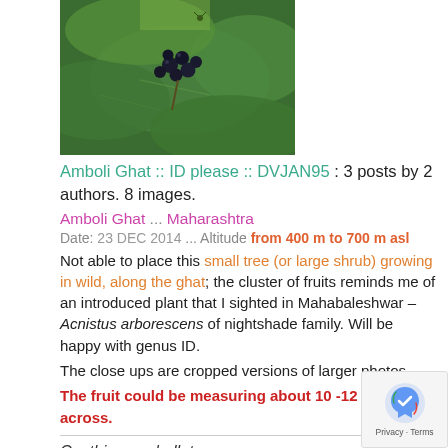[Figure (photo): Close-up photo of dark berries/fruits on a plant with large green leaves, likely a shrub or small tree in the wild.]
Amboli Ghat :: ID please :: DVJAN95 : 3 posts by 2 authors. 8 images.
Amboli Ghat ... Maharashtra
Date: 23 DEC 2014 ... Altitude from 400 m to 700 m asl
Not able to place this small tree (or large shrub) growing in wild, along the ghat; the cluster of fruits reminds me of an introduced plant that I sighted in Mahabaleshwar – Acnistus arborescens of nightshade family. Will be happy with genus ID.
The close ups are cropped versions of larger photos.
The fruit could be measuring about 10 -12 mm across.
Canthium umbellatum